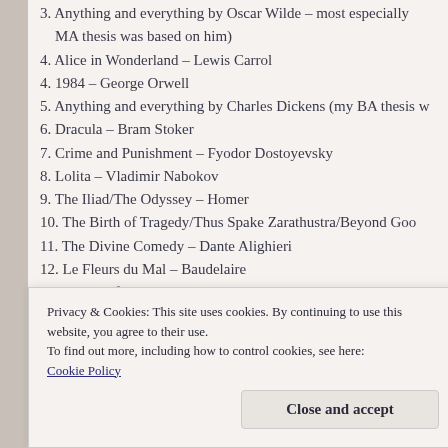3. Anything and everything by Oscar Wilde – most especially MA thesis was based on him)
4. Alice in Wonderland – Lewis Carrol
4. 1984 – George Orwell
5. Anything and everything by Charles Dickens (my BA thesis w…
6. Dracula – Bram Stoker
7. Crime and Punishment – Fyodor Dostoyevsky
8. Lolita – Vladimir Nabokov
9. The Iliad/The Odyssey – Homer
10. The Birth of Tragedy/Thus Spake Zarathustra/Beyond Goo…
11. The Divine Comedy – Dante Alighieri
12. Le Fleurs du Mal – Baudelaire
13 – Heart of Darkness – Joseph Conrad
14 – Ulysses – James Joyce
15 – Gulliver's Travels – Jonathan Swift
16 – The Castle – Franz Kafka
Privacy & Cookies: This site uses cookies. By continuing to use this website, you agree to their use. To find out more, including how to control cookies, see here: Cookie Policy
Close and accept